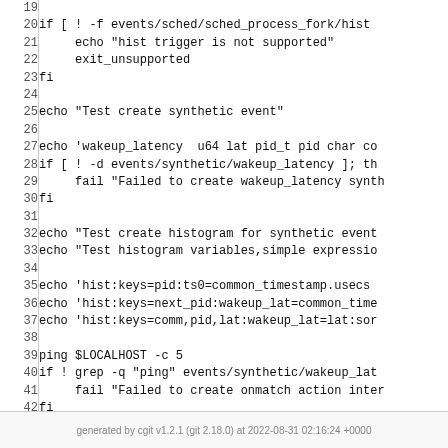[Figure (screenshot): Code listing showing shell script lines 19-44 with line numbers. Content includes conditional checks for ftrace histogram support, synthetic event creation, histogram variable tests, and exit 0.]
generated by cgit v1.2.1 (git 2.18.0) at 2022-08-31 02:16:24 +0000